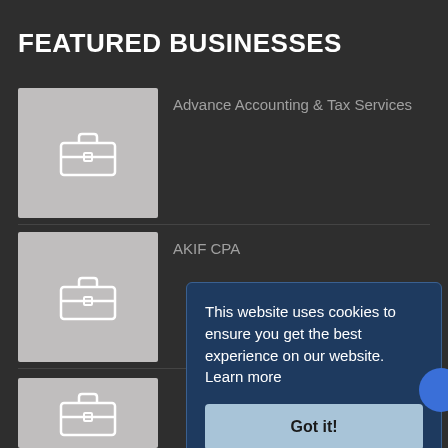FEATURED BUSINESSES
Advance Accounting & Tax Services
[Figure (illustration): Briefcase icon placeholder for Advance Accounting & Tax Services]
AKIF CPA
[Figure (illustration): Briefcase icon placeholder for AKIF CPA]
[Figure (illustration): Briefcase icon placeholder for third business listing]
This website uses cookies to ensure you get the best experience on our website. Learn more
Got it!